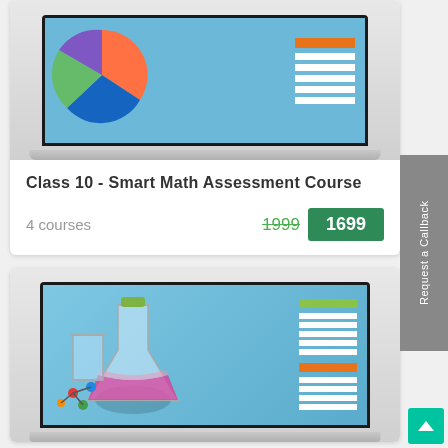[Figure (illustration): Laptop displaying a pie chart with blue, green, orange, and purple segments on a light blue background, with legend bars on the right]
Class 10 - Smart Math Assessment Course
4 courses
1999  1699
[Figure (illustration): Laptop displaying science lab flasks and beakers with a molecule model on a light blue background, with green and orange legend bars on the right]
Request a Callback